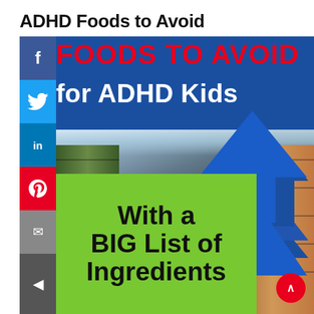ADHD Foods to Avoid
[Figure (infographic): Infographic image showing a grocery store aisle in the background with large bold text overlay. Red text reads 'FOODS TO AVOID' and white text reads 'for ADHD Kids'. A green box in the lower left reads 'With a BIG List of Ingredients'. A blue arrow graphic points downward-right. Social media sharing buttons (Facebook, Twitter, LinkedIn, Pinterest, Email) are shown as a vertical sidebar on the left. A red scroll-to-top button appears at bottom right.]